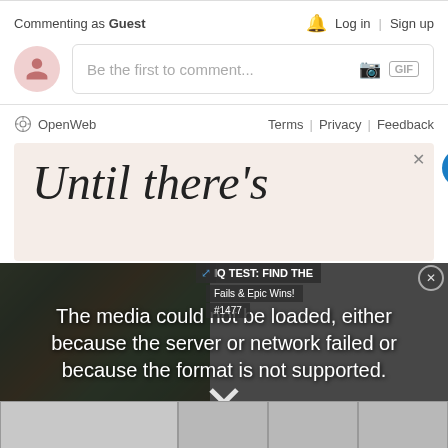Commenting as Guest
Log in | Sign up
Be the first to comment...
OpenWeb    Terms | Privacy | Feedback
[Figure (screenshot): Ad banner showing text 'Until there's' in large serif italic font on a light peach background, with a close X button and accessibility icon]
[Figure (screenshot): Video error overlay showing dark semi-transparent background over a game image with text: 'The media could not be loaded, either because the server or network failed or because the format is not supported.' and a close X. Also overlaid: IQ TEST: FIND THE text box, Fails & Epic Wins! #1477 label, and gray thumbnail cells below.]